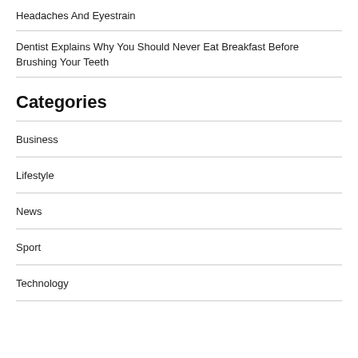Headaches And Eyestrain
Dentist Explains Why You Should Never Eat Breakfast Before Brushing Your Teeth
Categories
Business
Lifestyle
News
Sport
Technology